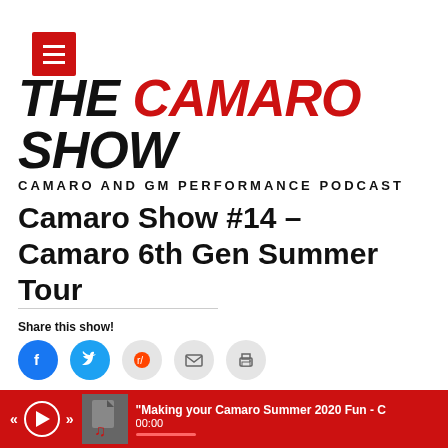[Figure (logo): Hamburger menu icon — red square with three white horizontal bars]
[Figure (logo): The Camaro Show — Camaro and GM Performance Podcast logo. Large italic black and red text with subtitle.]
Camaro Show #14 – Camaro 6th Gen Summer Tour
Share this show!
[Figure (infographic): Row of social share buttons: Facebook (blue circle), Twitter (blue circle), Reddit (grey circle), Email (grey circle), Print (grey circle)]
[Figure (screenshot): Dark audio player bar with play button, 00:00 timestamps, and progress bar]
[Figure (screenshot): Red bottom media player bar with rewind/play/forward controls, album art icon, track title 'Making your Camaro Summer 2020 Fun - C', time 00:00, and short progress bar]